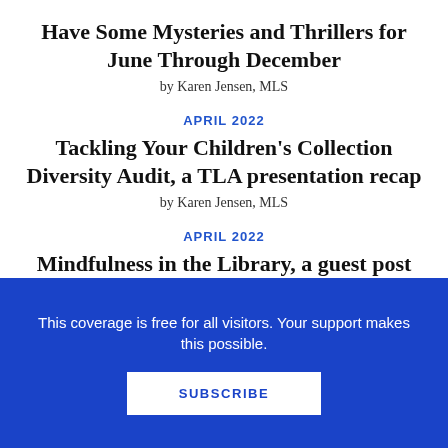Have Some Mysteries and Thrillers for June Through December
by Karen Jensen, MLS
APRIL 2022
Tackling Your Children's Collection Diversity Audit, a TLA presentation recap
by Karen Jensen, MLS
APRIL 2022
Mindfulness in the Library, a guest post
by Erica B. Marcus
This coverage is free for all visitors. Your support makes this possible.
SUBSCRIBE